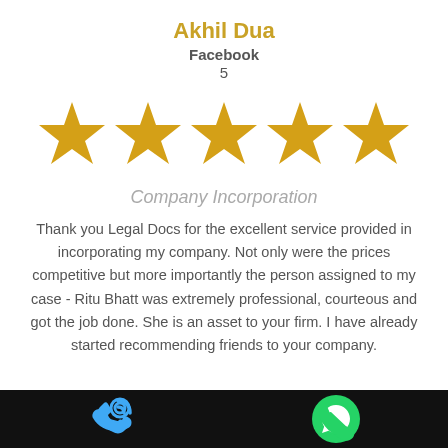Akhil Dua
Facebook
5
[Figure (illustration): Five golden star icons representing a 5-star rating]
Company Incorporation
Thank you Legal Docs for the excellent service provided in incorporating my company. Not only were the prices competitive but more importantly the person assigned to my case - Ritu Bhatt was extremely professional, courteous and got the job done. She is an asset to your firm. I have already started recommending friends to your company.
[Figure (illustration): Phone call icon and WhatsApp icon on black bottom bar]